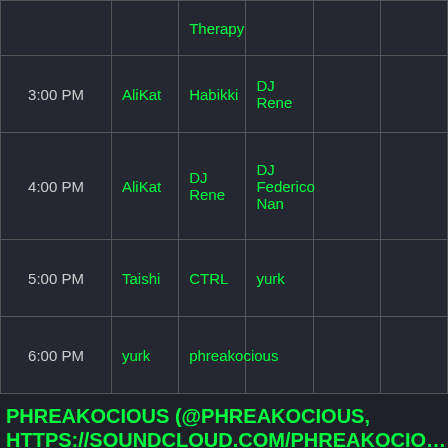| Time | Col1 | Col2 | Col3 | Col4 | Col5 |
| --- | --- | --- | --- | --- | --- |
|  |  | Therapy |  |  |  |
| 3:00 PM | AliKat | Habikki | DJ Rene |  |  |
| 4:00 PM | AliKat | DJ Rene | DJ Federico Nan |  |  |
| 5:00 PM | Taishi | CTRL | yurk |  |  |
| 6:00 PM | yurk | phreakocious |  |  |  |
PHREAKOCIOUS (@PHREAKOCIOUS, HTTPS://SOUNDCLOUD.COM/PHREAKOCIOUS, HTTPS://MIXCLOUD.COM/PHREAKOCIOUS)
Inspired by experiences at Detroit raves and private parties in the early 90s, phreakocious bought a pair of 1200s in Y2K and has shaken booties with the finest in funky techno, house, and breaks ever since. The orchestrator of musical shenanigans at the Wall of